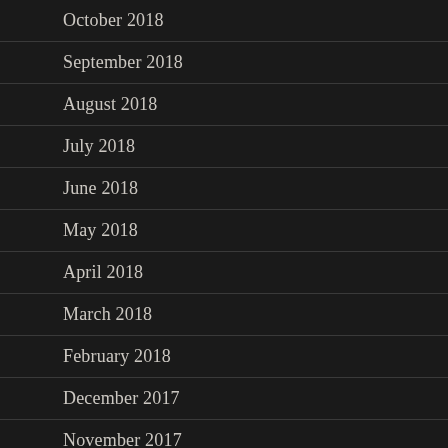October 2018
September 2018
August 2018
July 2018
June 2018
May 2018
April 2018
March 2018
February 2018
December 2017
November 2017
October 2017